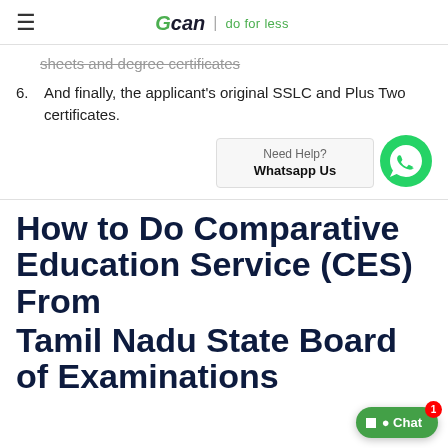GCAN | do for less
sheets and degree certificates
6. And finally, the applicant's original SSLC and Plus Two certificates.
[Figure (other): WhatsApp help widget with 'Need Help? Whatsapp Us' text and WhatsApp icon]
How to Do Comparative Education Service (CES) From Tamil Nadu State Board of School Examinations